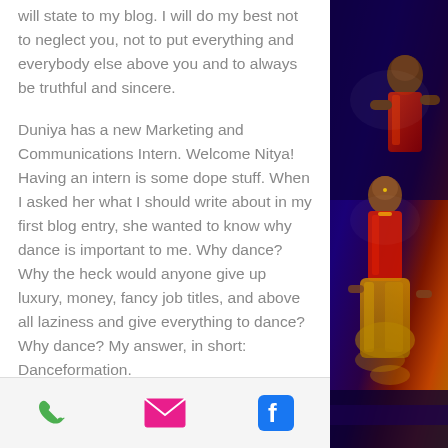will state to my blog. I will do my best not to neglect you, not to put everything and everybody else above you and to always be truthful and sincere.
Duniya has a new Marketing and Communications Intern. Welcome Nitya! Having an intern is some dope stuff. When I asked her what I should write about in my first blog entry, she wanted to know why dance is important to me. Why dance? Why the heck would anyone give up luxury, money, fancy job titles, and above all laziness and give everything to dance? Why dance? My answer, in short: Danceformation.
Dance is transformation. I am in the lucky
[Figure (photo): Performers in colorful traditional Indian dance costumes on a dark stage with blue/purple lighting]
Phone | Email | Facebook icons